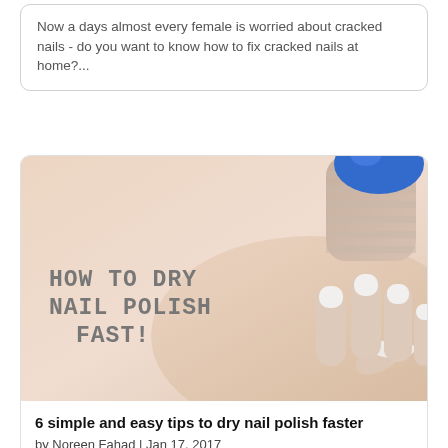Now a days almost every female is worried about cracked nails - do you want to know how to fix cracked nails at home?...
[Figure (photo): Photo of a hand with white-painted nails lying flat, with a finger wrapped in bandage and a blue nail polish bottle cap visible in the top right. Overlaid text reads HOW TO DRY NAIL POLISH FAST!]
6 simple and easy tips to dry nail polish faster
by Noreen Fahad | Jan 17, 2017
THE RUINED MANICURE IS VERY FRUSTRATING TO ALL THE GIRLS; LEARN HOW TO DRY NAIL POLISH FASTER TO AVOID SNAGS